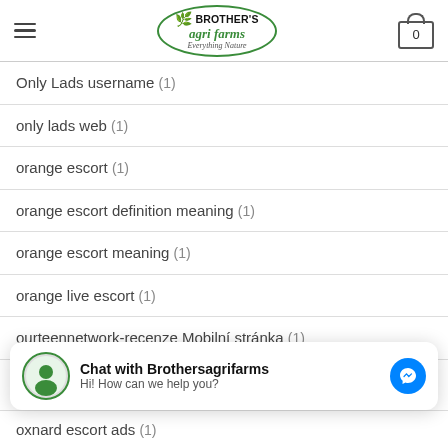Brother's Agri Farms — Everything Nature
Only Lads username (1)
only lads web (1)
orange escort (1)
orange escort definition meaning (1)
orange escort meaning (1)
orange live escort (1)
ourteennetwork-recenze Mobilní stránka (1)
outpersonals gratuit (1)
oxnard escort ads (1)